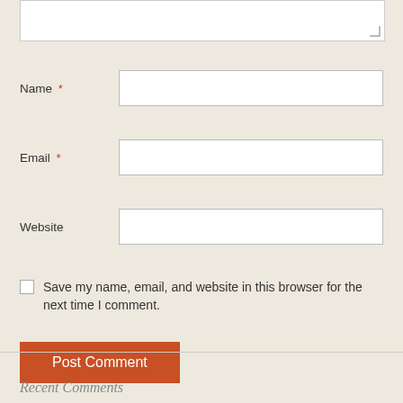[Figure (screenshot): Top portion of a comment form textarea input box (partially visible at top of page)]
Name *
Email *
Website
Save my name, email, and website in this browser for the next time I comment.
Post Comment
Recent Comments